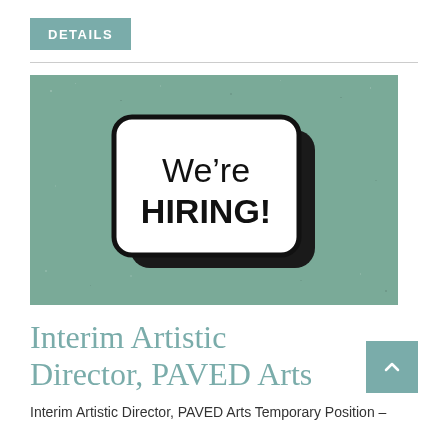DETAILS
[Figure (illustration): Green/teal background image with a speech-bubble style sign reading 'We're HIRING!' in large bold text with a black border and dark shadow, styled with a grunge texture overlay.]
Interim Artistic Director, PAVED Arts
Interim Artistic Director, PAVED Arts Temporary Position –